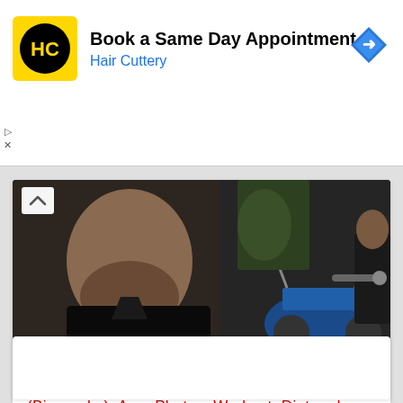[Figure (logo): Hair Cuttery logo - yellow square with HC lettering in black circle]
Book a Same Day Appointment
Hair Cuttery
[Figure (photo): Photo of a male model (Karan Oberoi) in a black leather jacket with a motorcycle in the background]
India's Top Male Model Karan Oberoi (Biography), Age, Photos, Workout, Diet and...